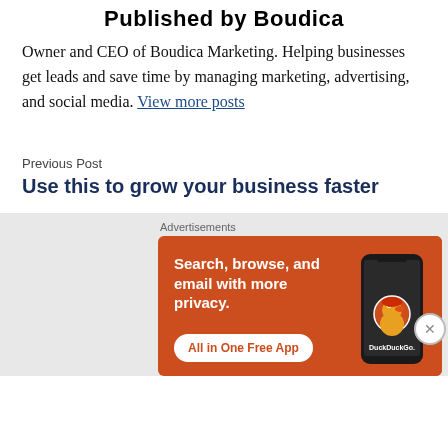Published by Boudica
Owner and CEO of Boudica Marketing. Helping businesses get leads and save time by managing marketing, advertising, and social media. View more posts
Previous Post
Use this to grow your business faster
[Figure (screenshot): DuckDuckGo advertisement banner with orange background showing 'Search, browse, and email with more privacy. All in One Free App' with DuckDuckGo logo and phone graphic]